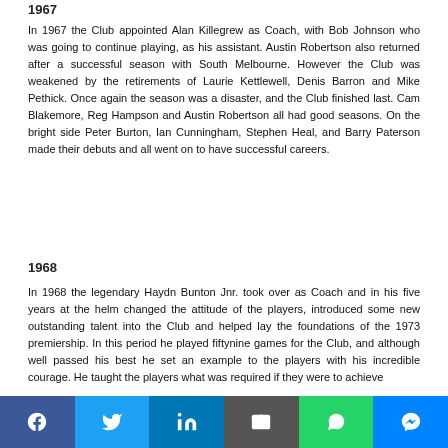1967
In 1967 the Club appointed Alan Killegrew as Coach, with Bob Johnson who was going to continue playing, as his assistant. Austin Robertson also returned after a successful season with South Melbourne. However the Club was weakened by the retirements of Laurie Kettlewell, Denis Barron and Mike Pethick. Once again the season was a disaster, and the Club finished last. Cam Blakemore, Reg Hampson and Austin Robertson all had good seasons. On the bright side Peter Burton, Ian Cunningham, Stephen Heal, and Barry Paterson made their debuts and all went on to have successful careers.
1968
In 1968 the legendary Haydn Bunton Jnr. took over as Coach and in his five years at the helm changed the attitude of the players, introduced some new outstanding talent into the Club and helped lay the foundations of the 1973 premiership. In this period he played fiftynine games for the Club, and although well passed his best he set an example to the players with his incredible courage. He taught the players what was required if they were to achieve